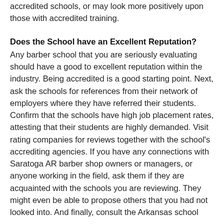businesses will not recruit recent graduates of non-accredited schools, or may look more positively upon those with accredited training.
Does the School have an Excellent Reputation?
Any barber school that you are seriously evaluating should have a good to excellent reputation within the industry. Being accredited is a good starting point. Next, ask the schools for references from their network of employers where they have referred their students. Confirm that the schools have high job placement rates, attesting that their students are highly demanded. Visit rating companies for reviews together with the school's accrediting agencies. If you have any connections with Saratoga AR barber shop owners or managers, or anyone working in the field, ask them if they are acquainted with the schools you are reviewing. They might even be able to propose others that you had not looked into. And finally, consult the Arkansas school